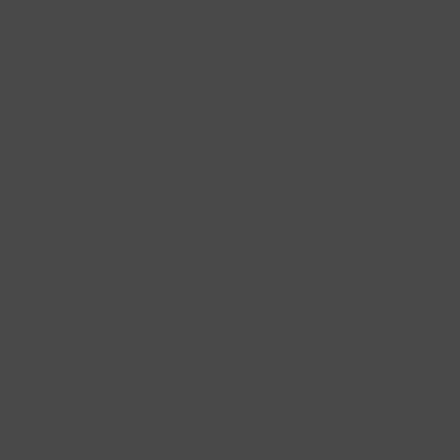[Figure (other): Solid dark gray background filling the entire page with no visible text or other content elements.]